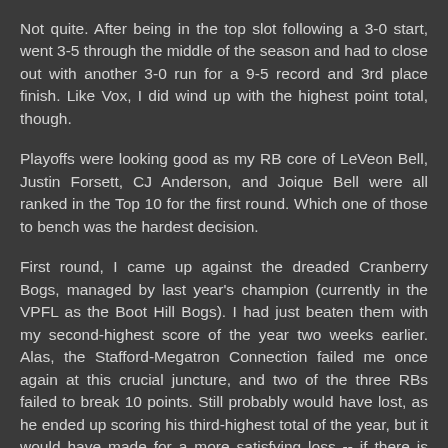Not quite. After being in the top slot following a 3-0 start, went 3-5 through the middle of the season and had to close out with another 3-0 run for a 9-5 record and 3rd place finish. Like Vox, I did wind up with the highest point total, though.
Playoffs were looking good as my RB core of LeVeon Bell, Justin Forsett, CJ Anderson, and Joique Bell were all ranked in the Top 10 for the first round. Which one of those to bench was the hardest decision.
First round, I came up against the dreaded Cranberry Bogs, managed by last year's champion (currently in the VPFL as the Boot Hill Bogs). I had just beaten them with my second-highest score of the year two weeks earlier. Alas, the Stafford-Megatron Connection failed me once again at this crucial juncture, and two of the three RBs failed to break 10 points. Still probably would have lost, as he ended up scoring his third-highest total of the year, but it would have made for a more satisfying loss -- if there is such a thing.
And as he's currently in roughly the same boat as you in